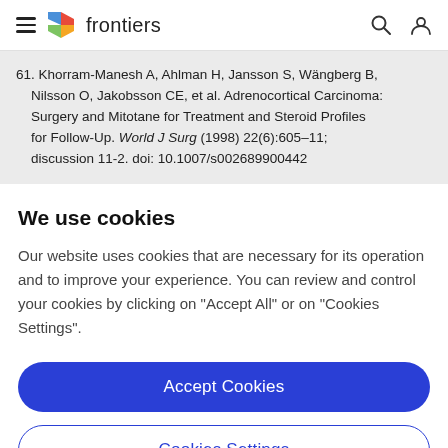frontiers
61. Khorram-Manesh A, Ahlman H, Jansson S, Wängberg B, Nilsson O, Jakobsson CE, et al. Adrenocortical Carcinoma: Surgery and Mitotane for Treatment and Steroid Profiles for Follow-Up. World J Surg (1998) 22(6):605–11; discussion 11-2. doi: 10.1007/s002689900442
We use cookies
Our website uses cookies that are necessary for its operation and to improve your experience. You can review and control your cookies by clicking on "Accept All" or on "Cookies Settings".
Accept Cookies
Cookies Settings